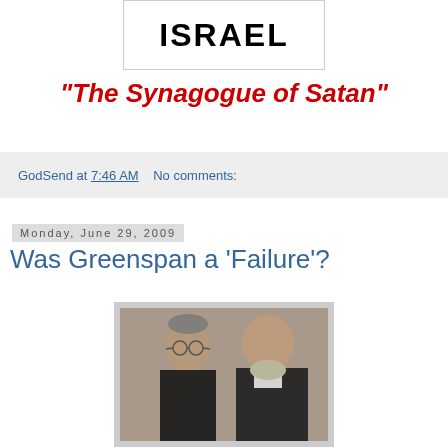[Figure (logo): Logo image showing the word ISRAEL in bold black capital letters inside a white box with border]
"The Synagogue of Satan"
GodSend at 7:46 AM   No comments:
Monday, June 29, 2009
Was Greenspan a 'Failure'?
[Figure (photo): Photo of two older men in suits, side profile view, appearing to be Alan Greenspan and Ben Bernanke]